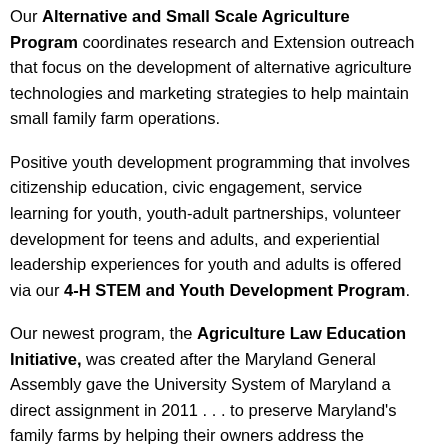Our Alternative and Small Scale Agriculture Program coordinates research and Extension outreach that focus on the development of alternative agriculture technologies and marketing strategies to help maintain small family farm operations.
Positive youth development programming that involves citizenship education, civic engagement, service learning for youth, youth-adult partnerships, volunteer development for teens and adults, and experiential leadership experiences for youth and adults is offered via our 4-H STEM and Youth Development Program.
Our newest program, the Agriculture Law Education Initiative, was created after the Maryland General Assembly gave the University System of Maryland a direct assignment in 2011 . . . to preserve Maryland's family farms by helping their owners address the complicated legal issues associated with agricultural estates and trusts, regulatory compliance and other agricultural issues.
As the needs of our community evolve, so will UMES Extension